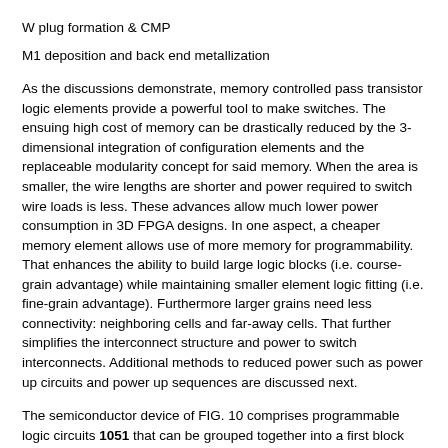W plug formation & CMP
M1 deposition and back end metallization
As the discussions demonstrate, memory controlled pass transistor logic elements provide a powerful tool to make switches. The ensuing high cost of memory can be drastically reduced by the 3-dimensional integration of configuration elements and the replaceable modularity concept for said memory. When the area is smaller, the wire lengths are shorter and power required to switch wire loads is less. These advances allow much lower power consumption in 3D FPGA designs. In one aspect, a cheaper memory element allows use of more memory for programmability. That enhances the ability to build large logic blocks (i.e. course-grain advantage) while maintaining smaller element logic fitting (i.e. fine-grain advantage). Furthermore larger grains need less connectivity: neighboring cells and far-away cells. That further simplifies the interconnect structure and power to switch interconnects. Additional methods to reduced power such as power up circuits and power up sequences are discussed next.
The semiconductor device of FIG. 10 comprises programmable logic circuits 1051 that can be grouped together into a first block 1050. These circuits may be positioned in a first module layer such as 850 in FIG. 8 in a 3D IC, or these may be grouped to form a first set of circuits from a plurality of circuits in a 2D IC. The plurality of logic circuits 1051 is powered by a first